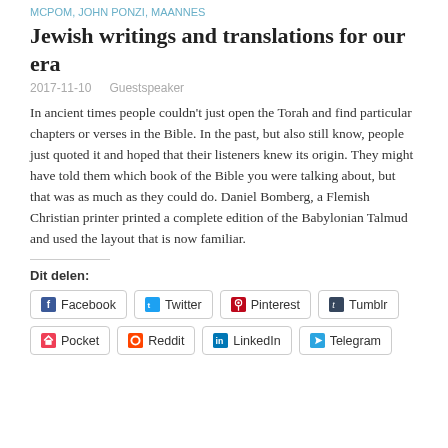MCPOM, JOHN PONZI, MAANNES
Jewish writings and translations for our era
2017-11-10   Guestspeaker
In ancient times people couldn't just open the Torah and find particular chapters or verses in the Bible. In the past, but also still know, people just quoted it and hoped that their listeners knew its origin. They might have told them which book of the Bible you were talking about, but that was as much as they could do. Daniel Bomberg, a Flemish Christian printer printed a complete edition of the Babylonian Talmud and used the layout that is now familiar.
Dit delen:
Facebook  Twitter  Pinterest  Tumblr  Pocket  Reddit  LinkedIn  Telegram